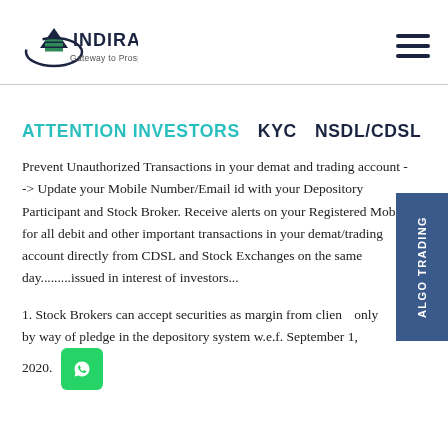INDIRA – Gateway to Prosperity [logo and navigation]
ATTENTION INVESTORS   KYC   NSDL/CDSL
Prevent Unauthorized Transactions in your demat and trading account --> Update your Mobile Number/Email id with your Depository Participant and Stock Broker. Receive alerts on your Registered Mobile for all debit and other important transactions in your demat/trading account directly from CDSL and Stock Exchanges on the same day.........issued in interest of investors...
1. Stock Brokers can accept securities as margin from clients only by way of pledge in the depository system w.e.f. September 1, 2020.